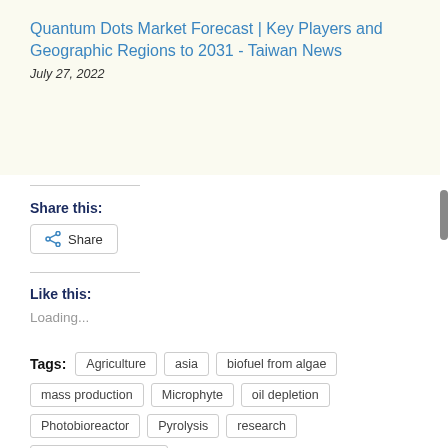Quantum Dots Market Forecast | Key Players and Geographic Regions to 2031 - Taiwan News
July 27, 2022
Share this:
[Figure (other): Share button with share icon]
Like this:
Loading...
Tags: Agriculture  asia  biofuel from algae  mass production  Microphyte  oil depletion  Photobioreactor  Pyrolysis  research  University of Alicante